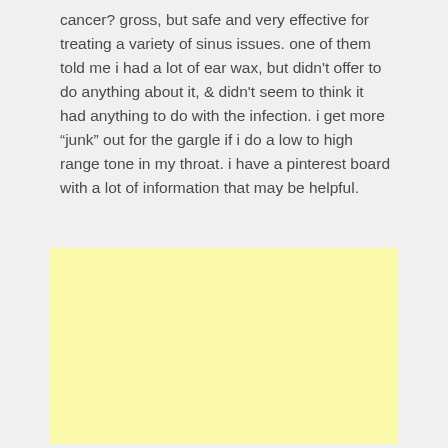cancer? gross, but safe and very effective for treating a variety of sinus issues. one of them told me i had a lot of ear wax, but didn't offer to do anything about it, & didn't seem to think it had anything to do with the infection. i get more “junk” out for the gargle if i do a low to high range tone in my throat. i have a pinterest board with a lot of information that may be helpful.
[Figure (other): A plain light yellow rectangular box, likely an advertisement placeholder.]